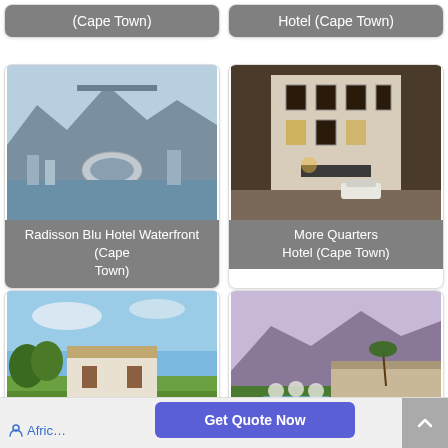[Figure (photo): Hotel card partially visible at top - shows text label '(Cape Town)']
[Figure (photo): Hotel card partially visible at top - shows text label 'Hotel (Cape Town)']
[Figure (photo): Radisson Blu Hotel Waterfront Cape Town - aerial photo showing Table Mountain and stadium]
Radisson Blu Hotel Waterfront (Cape Town)
[Figure (photo): More Quarters Hotel Cape Town - street-level exterior photo at night]
More Quarters Hotel (Cape Town)
[Figure (photo): Mont Rochelle and Manor House Villa Franschhoek - aerial view of estate with green lawns]
Mont Rochelle and Manor House Villa (Franschhoek)
[Figure (photo): Dock House Boutique Hotel Cape Town - aerial view with mountain backdrop, pool and gardens]
Dock House Boutique Hotel (Cape Town)
Get Quote Now
Afric…